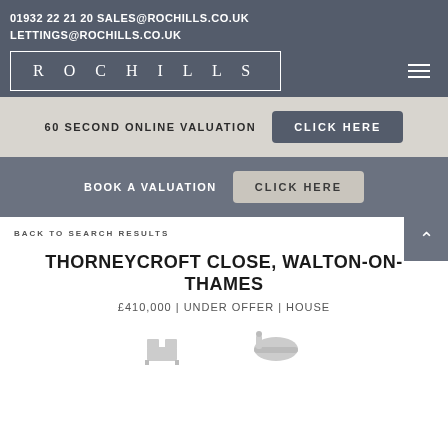01932 22 21 20 SALES@ROCHILLS.CO.UK
LETTINGS@ROCHILLS.CO.UK
[Figure (logo): Rochills logo in white text with white rectangular border on dark grey background. Text reads R O C H I L L S]
60 SECOND ONLINE VALUATION   CLICK HERE
BOOK A VALUATION   CLICK HERE
BACK TO SEARCH RESULTS
THORNEYCROFT CLOSE, WALTON-ON-THAMES
£410,000 | UNDER OFFER | HOUSE